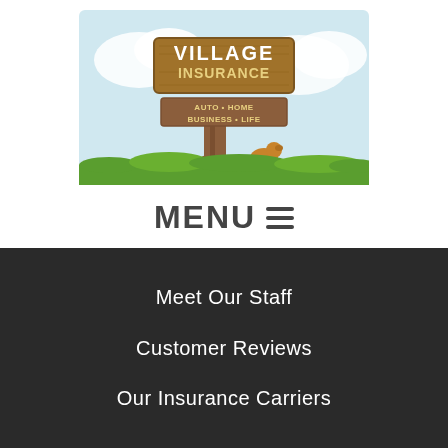[Figure (logo): Village Insurance logo: a wooden sign on a tree trunk with text 'VILLAGE INSURANCE' and sub-text 'AUTO + HOME BUSINESS + LIFE', green grass at the bottom, a small dog visible, and a blue sky background.]
MENU ≡
Meet Our Staff
Customer Reviews
Our Insurance Carriers